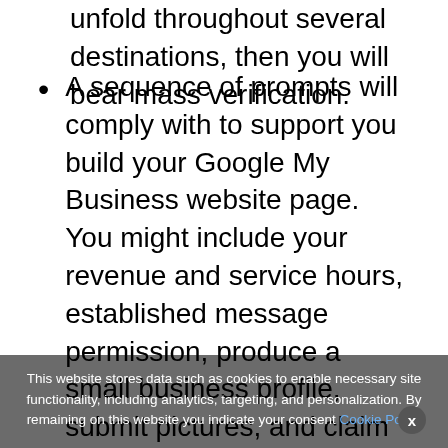unfold throughout several destinations, then you will bear mass verification.
A sequence of prompts will comply with to support you build your Google My Business website page. You might include your revenue and service hours, established message permission, produce a small business profile, submit pictures, and claim a $100 ad credit history via Google Adverts.
You are going to be introduced to your Google...
We use cookies on our website to give you the most relevant experience by remembering your preferences and repeat visits. By clicking “Accept All”, you consent to the use of ALL the cookies. However, you may visit “Cookie Settings” to provide a controlled consent.
This website stores data such as cookies to enable necessary site functionality, including analytics, targeting, and personalization. By remaining on this website you indicate your consent Cookie Policy